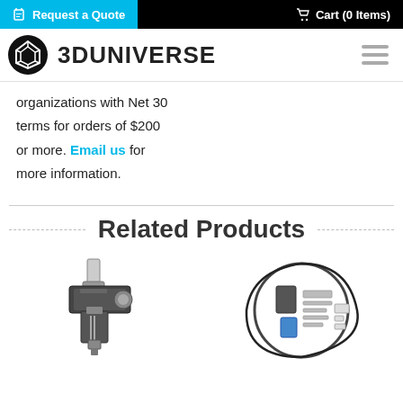Request a Quote | Cart (0 Items)
[Figure (logo): 3D Universe logo with icon and text]
organizations with Net 30 terms for orders of $200 or more. Email us for more information.
Related Products
[Figure (photo): 3D printer extruder/hotend component product photo]
[Figure (photo): 3D printer parts kit product photo in circular arrangement]